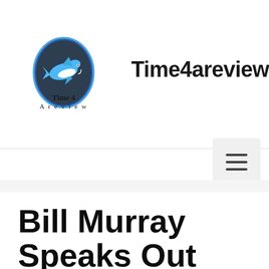[Figure (logo): Time 4 A Review logo with shark in dark oval, blue border, and text below reading 'Time 4 A review']
Time4areview
[Figure (other): Hamburger menu icon (three horizontal lines) in a light gray rounded rectangle]
Bill Murray Speaks Out Aft…